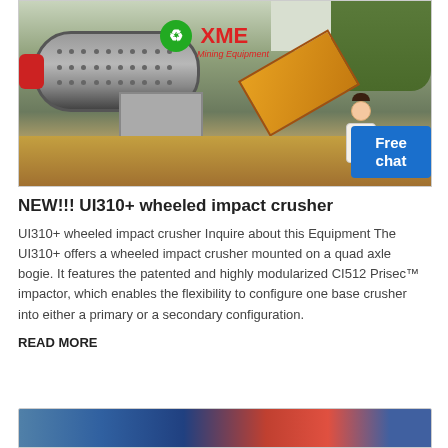[Figure (photo): Industrial mining equipment - a large cylindrical drum crusher (ball mill) mounted on a concrete base with a conveyor belt visible in the background, trees and overcast sky. XME Mining Equipment logo with green recycling icon and red text overlay. A customer service avatar and blue 'Free chat' button in bottom right corner.]
NEW!!! UI310+ wheeled impact crusher
UI310+ wheeled impact crusher Inquire about this Equipment The UI310+ offers a wheeled impact crusher mounted on a quad axle bogie. It features the patented and highly modularized CI512 Prisec™ impactor, which enables the flexibility to configure one base crusher into either a primary or a secondary configuration.
READ MORE
[Figure (photo): Partial view of another piece of mining/crushing equipment, partially visible at the bottom of the page.]